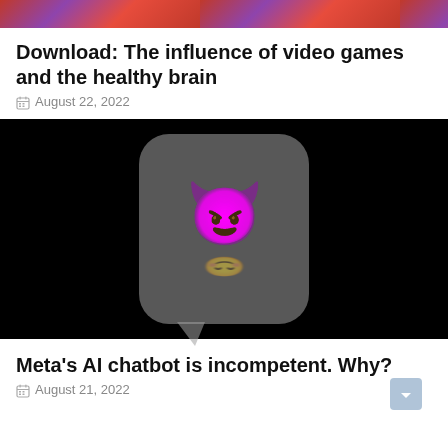[Figure (photo): Top banner image with colorful pixel/noise pattern in red and purple tones]
Download: The influence of video games and the healthy brain
August 22, 2022
[Figure (photo): Black background with a speech bubble containing a purple devil emoji face with green eyes and horns, stacked on a smiling emoji, with a reflection below]
Meta's AI chatbot is incompetent. Why?
August 21, 2022